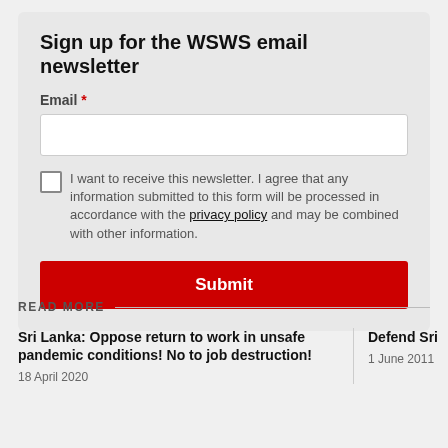Sign up for the WSWS email newsletter
Email *
I want to receive this newsletter. I agree that any information submitted to this form will be processed in accordance with the privacy policy and may be combined with other information.
Submit
READ MORE
Sri Lanka: Oppose return to work in unsafe pandemic conditions! No to job destruction!
18 April 2020
Defend Sri
1 June 2011